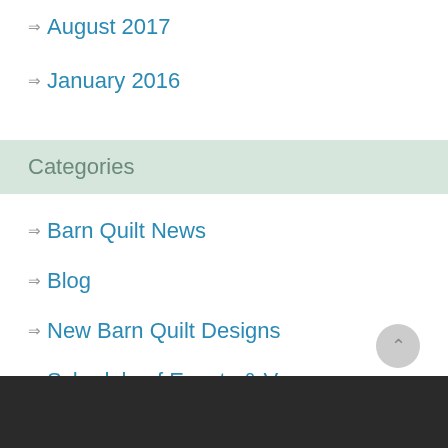August 2017
January 2016
Categories
Barn Quilt News
Blog
New Barn Quilt Designs
Schedule of Events & Venues
Uncategorized